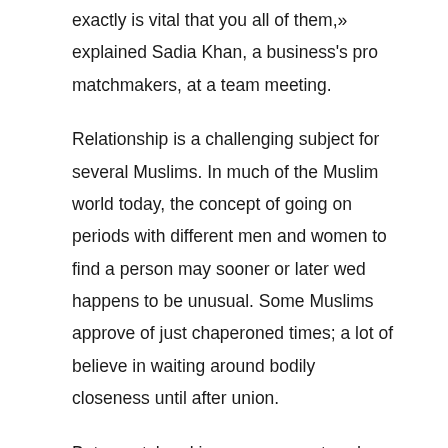exactly is vital that you all of them,» explained Sadia Khan, a business's pro matchmakers, at a team meeting.
Relationship is a challenging subject for several Muslims. In much of the Muslim world today, the concept of going on periods with different men and women to find a person may sooner or later wed happens to be unusual. Some Muslims approve of just chaperoned times; a lot of believe in waiting around bodily closeness until after union.
But a matchmaking process centered on fathers attempt children' partners that created for the Muslim planet does Senior Sites dating site not work at the same time for women who will be inside their 20s or 30s normally get college grade and successful